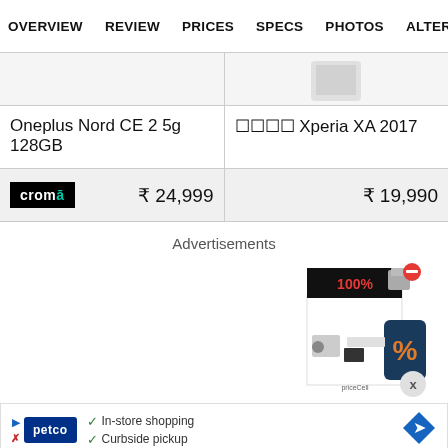OVERVIEW   REVIEW   PRICES   SPECS   PHOTOS   ALTER
Oneplus Nord CE 2 5g 128GB
⬛⬛⬛⬛ Xperia XA 2017
cromā   ₹ 24,999
₹ 19,990
Advertisements
[Figure (illustration): Advertisement box showing a product box with a percentage discount icon and a red minus badge in top right corner]
[Figure (illustration): Petco advertisement banner with Petco logo, checkmarks for In-store shopping and Curbside pickup, and a blue diamond arrow icon. Also shows small triangular play icon and X icon.]